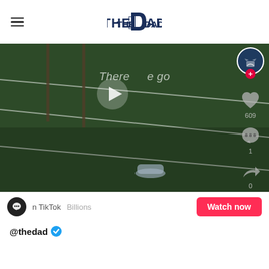THE DAD
[Figure (screenshot): TikTok video thumbnail showing a grass field with diagonal white lines (sports field), a water bottle on the ground. Overlaid text reads 'There we go'. Play button in center. TikTok UI on right side: profile avatar with plus button, heart icon with count 609, comment icon with count 1, share icon with count 0.]
n TikTok   Billions   Watch now
@thedad